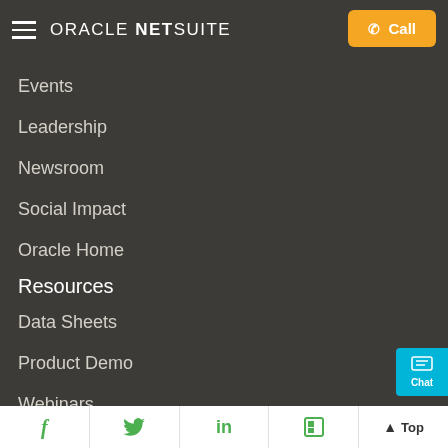Oracle NetSuite — Call button
Events
Leadership
Newsroom
Social Impact
Oracle Home
Resources
Data Sheets
Product Demo
Webinars
White Papers
Education Services
Support Services
Facebook  Twitter  LinkedIn  Flipboard  Top